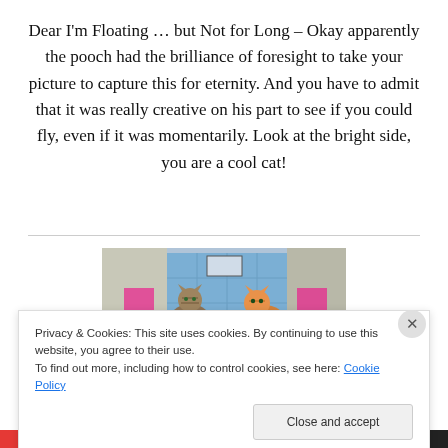Dear I'm Floating … but Not for Long – Okay apparently the pooch had the brilliance of foresight to take your picture to capture this for eternity.  And you have to admit that it was really creative on his part to see if you could fly, even if it was momentarily.  Look at the bright side, you are a cool cat!
[Figure (photo): Photo of two cats — a tabby cat on the left and an orange cat on the right — in front of a blue fence or gate, with a person in pink visible on the sides.]
Privacy & Cookies: This site uses cookies. By continuing to use this website, you agree to their use.
To find out more, including how to control cookies, see here: Cookie Policy
Close and accept